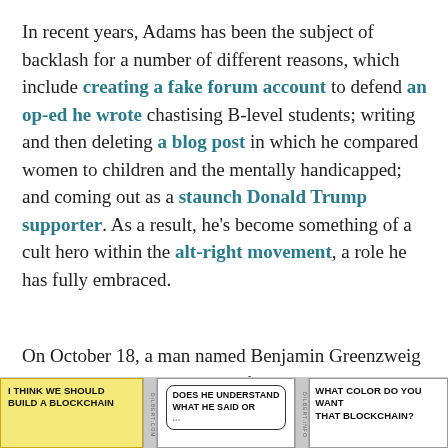In recent years, Adams has been the subject of backlash for a number of different reasons, which include creating a fake forum account to defend an op-ed he wrote chastising B-level students; writing and then deleting a blog post in which he compared women to children and the mentally handicapped; and coming out as a staunch Donald Trump supporter. As a result, he's become something of a cult hero within the alt-right movement, a role he has fully embraced.
On October 18, a man named Benjamin Greenzweig tweeted this altered version of a 1995 Dilbert comic strip:
[Figure (illustration): Bottom portion of a comic strip showing three panels. Panel 1 (yellow background): 'I THINK WE SHOULD BUILD A BLOCKCHAIN'. Panel 2 (white, speech bubble): 'DOES HE UNDERSTAND WHAT HE SAID OR...' (partially visible). Panel 3 (white): 'WHAT COLOR DO YOU WANT THAT BLOCKCHAIN?']